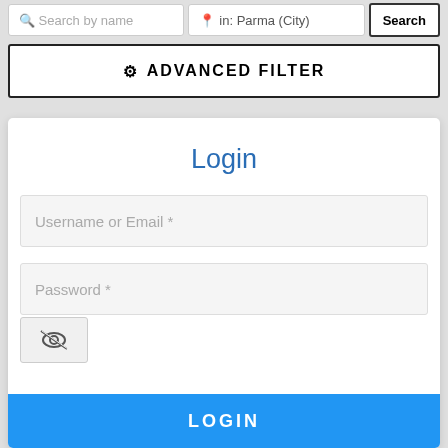Search by name
in: Parma (City)
Search
⚙ ADVANCED FILTER
Login
Username or Email *
Password *
Remember Me
LOGIN